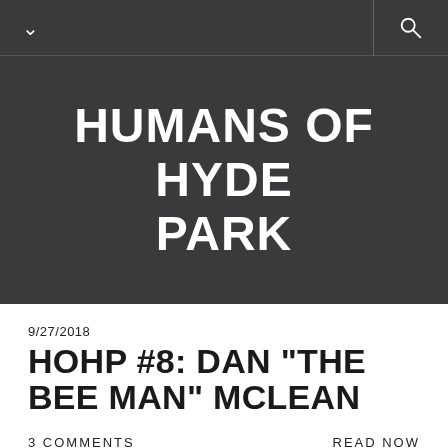HUMANS OF HYDE PARK
HUMANS OF HYDE PARK
9/27/2018
HOHP #8: DAN "THE BEE MAN" MCLEAN
3 COMMENTS
READ NOW